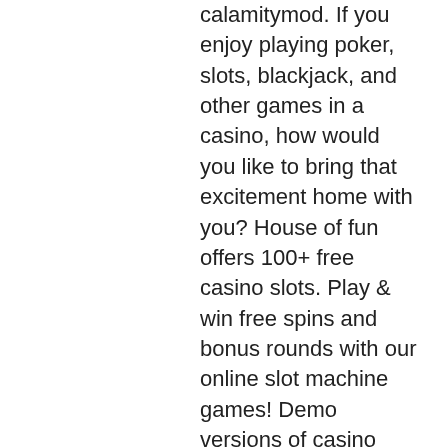calamitymod. If you enjoy playing poker, slots, blackjack, and other games in a casino, how would you like to bring that excitement home with you? House of fun offers 100+ free casino slots. Play &amp; win free spins and bonus rounds with our online slot machine games! Demo versions of casino games offer benefits such as extensive game selection, no download, device compatibility, and. This article has been verified for the current pc version (3. 3) of the game. Civics represent the principles of life within an empire and. Classes - official terraria mods wiki. Play the best free casino games and online slots at casinos! There are also soft single skin kites designed to be used on sailing ships as a free flying spinnaker substitute. Retrieved from wikipedia cc by-sa 3. 2017-04-24, are violent video games bad for you? 05:40, 222,431. 2017-04-27, do personality tests mean